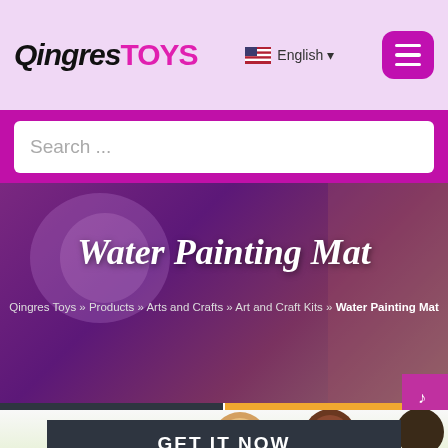QingresTOYS  English  [menu]
Search ...
[Figure (screenshot): Hero banner with purple gradient background showing 'Water Painting Mat' title and breadcrumb navigation: Qingres Toys » Products » Arts and Crafts » Art and Craft Kits » Water Painting Mat]
Water Painting Mat
Qingres Toys » Products » Arts and Crafts » Art and Craft Kits » Water Painting Mat
BUY NOW
MORE IMAGES
[Figure (photo): Children lying on floor using water painting mats, viewed from above. Green and blue colors visible.]
GET IT NOW